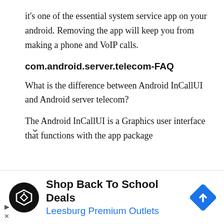it's one of the essential system service app on your android. Removing the app will keep you from making a phone and VoIP calls.
com.android.server.telecom-FAQ
What is the difference between Android InCallUI and Android server telecom?
The Android InCallUI is a Graphics user interface that functions with the app package
[Figure (infographic): Advertisement banner: Shop Back To School Deals - Leesburg Premium Outlets, with round black logo featuring a tag icon and a blue diamond navigation arrow icon]